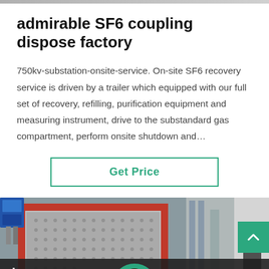admirable SF6 coupling dispose factory
750kv-substation-onsite-service. On-site SF6 recovery service is driven by a trailer which equipped with our full set of recovery, refilling, purification equipment and measuring instrument, drive to the substandard gas compartment, perform onsite shutdown and…
[Figure (other): Get Price button with green border]
[Figure (photo): Industrial SF6 equipment machine with red frame and mesh panels, photographed in a factory/workshop setting]
Leave Message
Chat Online